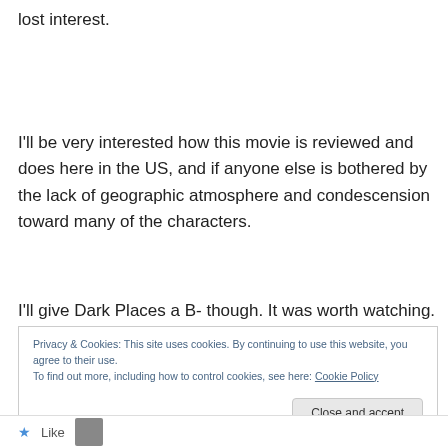lost interest.
I'll be very interested how this movie is reviewed and does here in the US, and if anyone else is bothered by the lack of geographic atmosphere and condescension toward many of the characters.
I'll give Dark Places a B- though. It was worth watching.
Privacy & Cookies: This site uses cookies. By continuing to use this website, you agree to their use.
To find out more, including how to control cookies, see here: Cookie Policy
Close and accept
Like